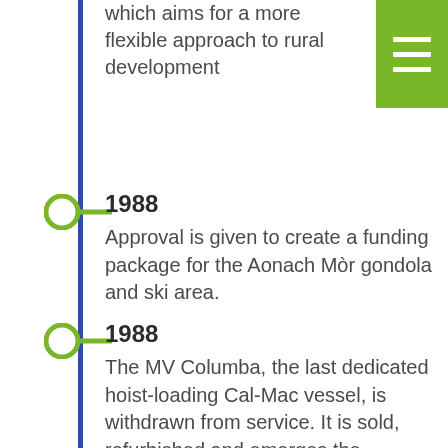which aims for a more flexible approach to rural development
1988
Approval is given to create a funding package for the Aonach Mòr gondola and ski area.
1988
The MV Columba, the last dedicated hoist-loading Cal-Mac vessel, is withdrawn from service. It is sold, refurbished and emerges the following year as the luxury cruise ship, The Hebridean